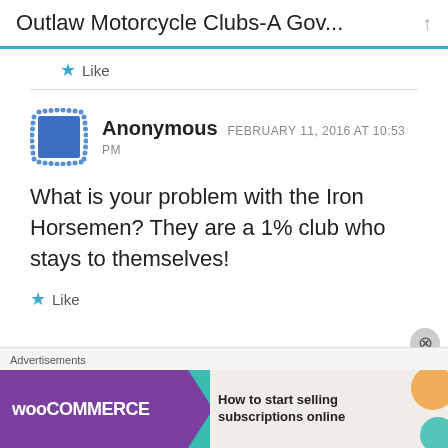Outlaw Motorcycle Clubs-A Gov...
Like
Anonymous  FEBRUARY 11, 2016 AT 10:53 PM
What is your problem with the Iron Horsemen? They are a 1% club who stays to themselves!
Like
Advertisements
[Figure (screenshot): WooCommerce advertisement banner: 'How to start selling subscriptions online']